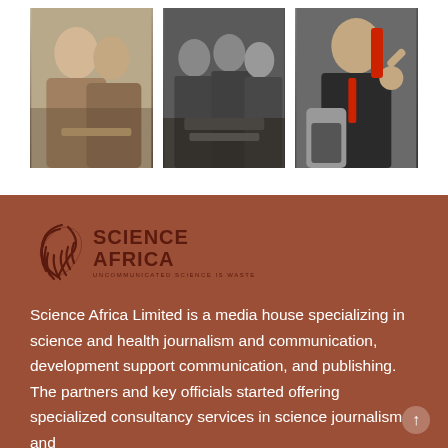[Figure (photo): Three side-by-side photos: people shaking hands at a meeting, people around a laptop in an office, and a businessman giving a thumbs up with a laptop]
[Figure (logo): Science Africa logo with wave/leaf graphic icon and text reading SCIENCE AFRICA with tagline UNCOMMUNICATED SCIENCE IS WASTE]
Science Africa Limited is a media house specializing in science and health journalism and communication, development support communication, and publishing. The partners and key officials started offering specialized consultancy services in science journalism and